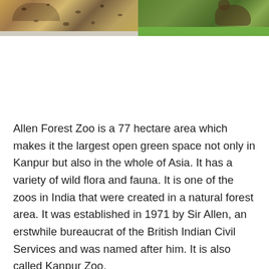[Figure (photo): Two photos side by side: left shows a leopard lying down on a sandy/rocky surface, right shows an animal (likely a big cat or hyena) on green grass]
Allen Forest Zoo is a 77 hectare area which makes it the largest open green space not only in Kanpur but also in the whole of Asia. It has a variety of wild flora and fauna. It is one of the zoos in India that were created in a natural forest area. It was established in 1971 by Sir Allen, an erstwhile bureaucrat of the British Indian Civil Services and was named after him. It is also called Kanpur Zoo.